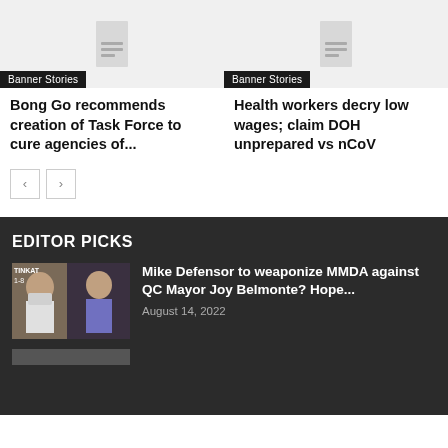[Figure (illustration): Article thumbnail placeholder with document icon, Banner Stories label]
Bong Go recommends creation of Task Force to cure agencies of...
[Figure (illustration): Article thumbnail placeholder with document icon, Banner Stories label]
Health workers decry low wages; claim DOH unprepared vs nCoV
EDITOR PICKS
[Figure (photo): Two people in an office setting, one wearing a mask holding a document]
Mike Defensor to weaponize MMDA against QC Mayor Joy Belmonte? Hope...
August 14, 2022